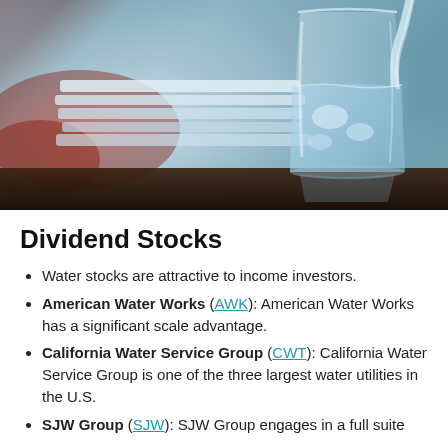[Figure (photo): A glass of water being filled with water, placed on a reflective dark surface with blurred background showing stacked items and reddish objects.]
Dividend Stocks
Water stocks are attractive to income investors.
American Water Works (AWK): American Water Works has a significant scale advantage.
California Water Service Group (CWT): California Water Service Group is one of the three largest water utilities in the U.S.
SJW Group (SJW): SJW Group engages in a full suite